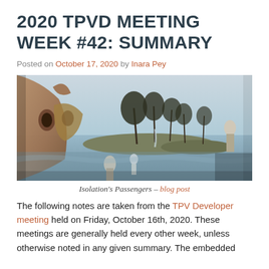2020 TPVD MEETING WEEK #42: SUMMARY
Posted on October 17, 2020 by Inara Pey
[Figure (photo): Fantasy landscape showing alien/creature figures in foreground with trees and water in background, surreal digital art scene. Title: Isolation's Passengers]
Isolation's Passengers – blog post
The following notes are taken from the TPV Developer meeting held on Friday, October 16th, 2020. These meetings are generally held every other week, unless otherwise noted in any given summary. The embedded